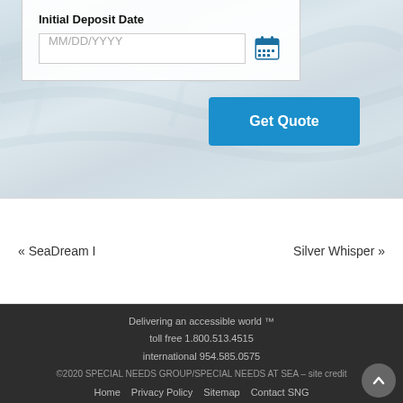[Figure (screenshot): Web form section with 'Initial Deposit Date' label, a date input field (MM/DD/YYYY placeholder), a calendar icon, and a blue 'Get Quote' button, overlaid on a marble/water texture background]
« SeaDream I
Silver Whisper »
Delivering an accessible world ™
toll free 1.800.513.4515
international 954.585.0575
©2020 SPECIAL NEEDS GROUP/SPECIAL NEEDS AT SEA – site credit
Home  Privacy Policy  Sitemap  Contact SNG